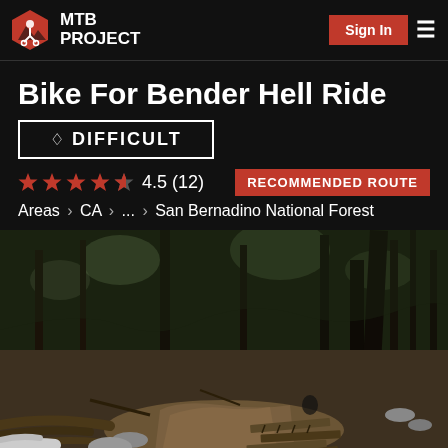MTB Project — Sign In
Bike For Bender Hell Ride
◇ DIFFICULT
4.5 (12) — RECOMMENDED ROUTE
Areas > CA > ... > San Bernadino National Forest
[Figure (photo): Mountain bike trail through a forested area with fallen logs, rocks, and wooden bridge planks on the ground. Trees surround the dirt trail in San Bernadino National Forest.]